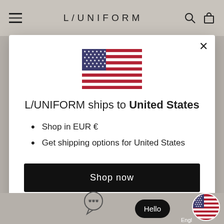L/UNIFORM
[Figure (screenshot): Modal dialog showing US flag, shipping destination info, and shop now button]
L/UNIFORM ships to United States
Shop in EUR €
Get shipping options for United States
Shop now
Change shipping country